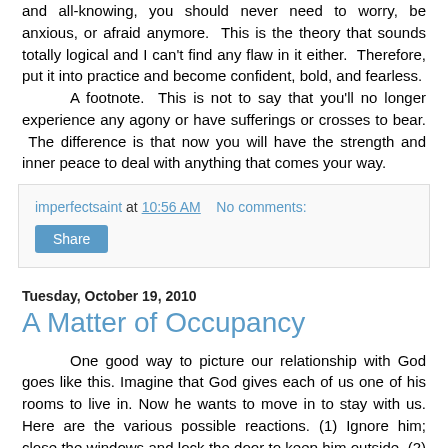and all-knowing, you should never need to worry, be anxious, or afraid anymore. This is the theory that sounds totally logical and I can't find any flaw in it either. Therefore, put it into practice and become confident, bold, and fearless. A footnote. This is not to say that you'll no longer experience any agony or have sufferings or crosses to bear. The difference is that now you will have the strength and inner peace to deal with anything that comes your way.
imperfectsaint at 10:56 AM   No comments:
Share
Tuesday, October 19, 2010
A Matter of Occupancy
One good way to picture our relationship with God goes like this. Imagine that God gives each of us one of his rooms to live in. Now he wants to move in to stay with us. Here are the various possible reactions. (1) Ignore him; close the windows and lock the door to keep him outside. (2) Look